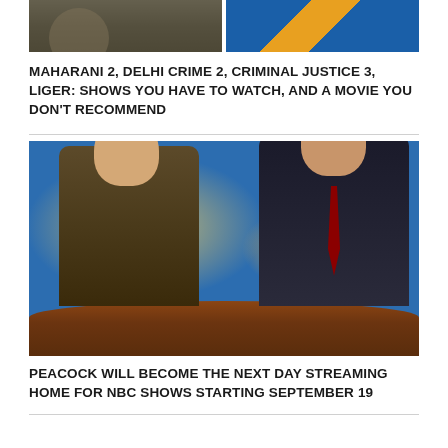[Figure (photo): Two cropped images side by side: left shows a person in military/police uniform (dark, muted tones), right shows a person in bright blue and orange/gold costume]
MAHARANI 2, DELHI CRIME 2, CRIMINAL JUSTICE 3, LIGER: SHOWS YOU HAVE TO WATCH, AND A MOVIE YOU DON'T RECOMMEND
[Figure (photo): SNL Weekend Update desk scene: young person in patterned sweater with fingers raised on left, suited male anchor at desk on right, world map backdrop behind them]
PEACOCK WILL BECOME THE NEXT DAY STREAMING HOME FOR NBC SHOWS STARTING SEPTEMBER 19